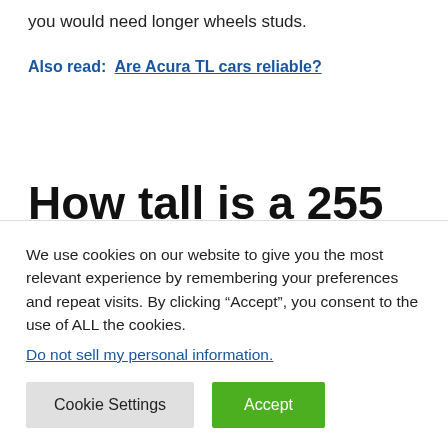you would need longer wheels studs.
Also read:  Are Acura TL cars reliable?
How tall is a 255 tire?
255/75R17 tire has a sidewall height of 7.5 inches or 191 mm...
We use cookies on our website to give you the most relevant experience by remembering your preferences and repeat visits. By clicking “Accept”, you consent to the use of ALL the cookies.
Do not sell my personal information.